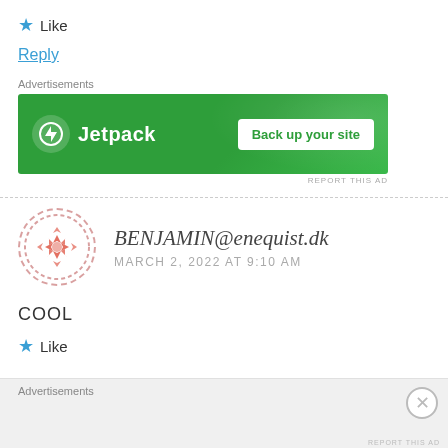★ Like
Reply
Advertisements
[Figure (screenshot): Jetpack advertisement banner with green background showing Jetpack logo and 'Back up your site' button]
BENJAMIN@enequist.dk
MARCH 2, 2022 AT 9:10 AM
COOL
★ Like
Advertisements